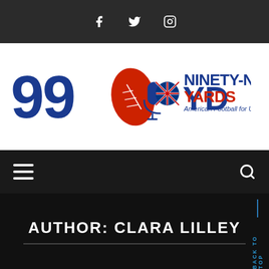Social icons bar: Facebook, Twitter, Instagram
[Figure (logo): 99 Yards logo with football and microphone graphic, text 'NINETY-NINE YARDS American Football for UK Fans']
Navigation bar with hamburger menu and search icon
AUTHOR: CLARA LILLEY